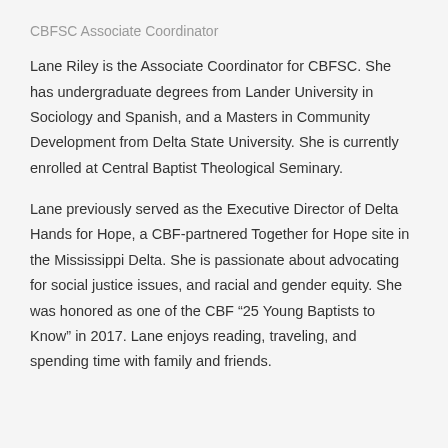CBFSC Associate Coordinator
Lane Riley is the Associate Coordinator for CBFSC. She has undergraduate degrees from Lander University in Sociology and Spanish, and a Masters in Community Development from Delta State University. She is currently enrolled at Central Baptist Theological Seminary.
Lane previously served as the Executive Director of Delta Hands for Hope, a CBF-partnered Together for Hope site in the Mississippi Delta. She is passionate about advocating for social justice issues, and racial and gender equity. She was honored as one of the CBF “25 Young Baptists to Know” in 2017. Lane enjoys reading, traveling, and spending time with family and friends.